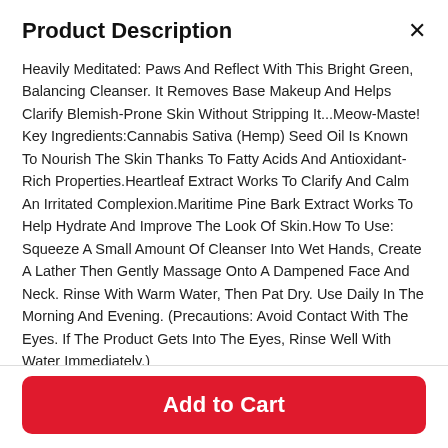Product Description
Heavily Meditated: Paws And Reflect With This Bright Green, Balancing Cleanser. It Removes Base Makeup And Helps Clarify Blemish-Prone Skin Without Stripping It...Meow-Maste! Key Ingredients:Cannabis Sativa (Hemp) Seed Oil Is Known To Nourish The Skin Thanks To Fatty Acids And Antioxidant-Rich Properties.Heartleaf Extract Works To Clarify And Calm An Irritated Complexion.Maritime Pine Bark Extract Works To Help Hydrate And Improve The Look Of Skin.How To Use: Squeeze A Small Amount Of Cleanser Into Wet Hands, Create A Lather Then Gently Massage Onto A Dampened Face And Neck. Rinse With Warm Water, Then Pat Dry. Use Daily In The Morning And Evening. (Precautions: Avoid Contact With The Eyes. If The Product Gets Into The Eyes, Rinse Well With Water Immediately.)
Concerns: Pores, Acne + Blemishes
Ingredients: Anti-Oxidants
Add to Cart